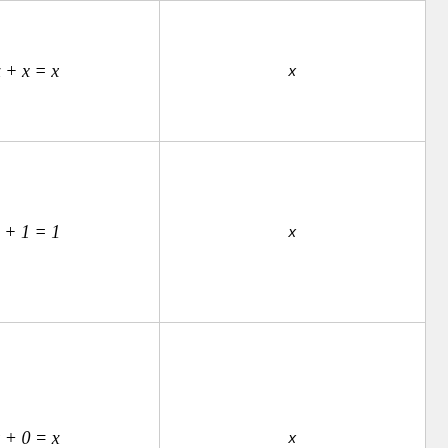| Description | OR formula | AND formula |
| --- | --- | --- |
| that is or'ed or and'ed with itself is equal to that term. | x + x = x | x |
| Annihilator Law – A term that is or'ed with 1 is 1; a term and'ed with 0 is 0. | x + 1 = 1 | x |
| Identity Law – A term or'ed 0 or and'ed with a 1 will always equal that term. | x + 0 = x | x |
| Complement Law – A term |  |  |